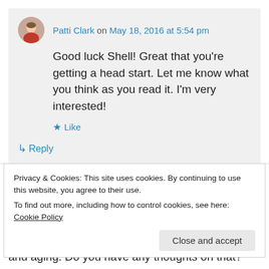Patti Clark on May 18, 2016 at 5:54 pm
Good luck Shell! Great that you're getting a head start. Let me know what you think as you read it. I'm very interested!
Like
Reply
Bernadette on May 19, 2016 at 10:46 pm
Privacy & Cookies: This site uses cookies. By continuing to use this website, you agree to their use.
To find out more, including how to control cookies, see here: Cookie Policy
Close and accept
and aging. Do you have any thoughts on that?